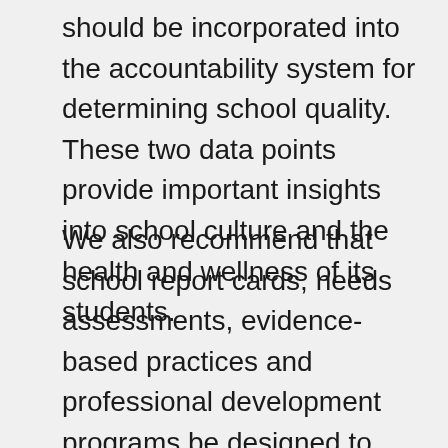should be incorporated into the accountability system for determining school quality. These two data points provide important insights into school culture and the health and wellness of its students.
We also recommend that school report cards, needs assessments, evidence-based practices and professional development programs be designed to support improvements on these two metrics. Neither of these indicators will create an additional data collection burden on schools. Chronic absenteeism data is already being collected by the U.S.